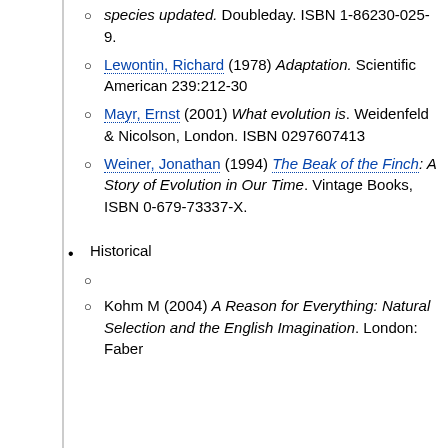Lewontin, Richard (1978) Adaptation. Scientific American 239:212-30
Mayr, Ernst (2001) What evolution is. Weidenfeld & Nicolson, London. ISBN 0297607413
Weiner, Jonathan (1994) The Beak of the Finch: A Story of Evolution in Our Time. Vintage Books, ISBN 0-679-73337-X.
Historical
Kohm M (2004) A Reason for Everything: Natural Selection and the English Imagination. London: Faber